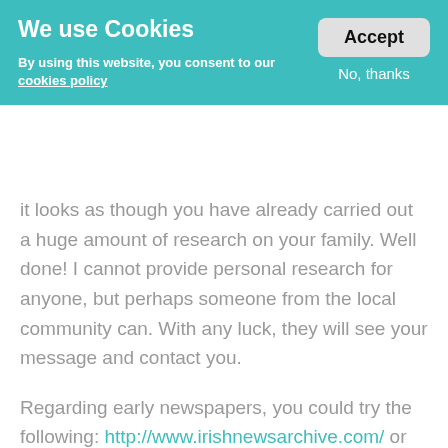We use Cookies
By using this website, you consent to our cookies policy
Accept
No, thanks
it looks as though you have already carried out a huge amount of research on your family. Well done! I cannot provide personal research for anyone, but perhaps someone from the local community can. With any luck, they will see your message and contact you.
Regarding early newspapers, you could try the following: http://www.irishnewsarchive.com/ or http://www.bl.uk/welcome/newspapers.html or Kerry County Library: http://www.kerrycolib.ie/